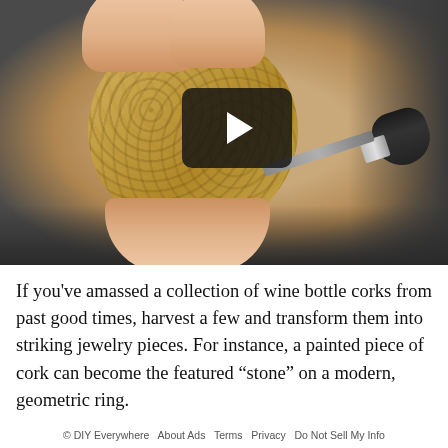[Figure (photo): Close-up photo of a hand holding a cork disc being painted with a paintbrush, with a video play button overlay in the center of the image]
If you've amassed a collection of wine bottle corks from past good times, harvest a few and transform them into striking jewelry pieces. For instance, a painted piece of cork can become the featured “stone” on a modern, geometric ring.
© DIY Everywhere   About Ads   Terms   Privacy   Do Not Sell My Info